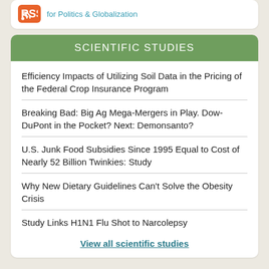[Figure (logo): RSS logo icon (orange box with white RSS symbol) followed by teal text 'for Politics & Globalization']
SCIENTIFIC STUDIES
Efficiency Impacts of Utilizing Soil Data in the Pricing of the Federal Crop Insurance Program
Breaking Bad: Big Ag Mega-Mergers in Play. Dow-DuPont in the Pocket? Next: Demonsanto?
U.S. Junk Food Subsidies Since 1995 Equal to Cost of Nearly 52 Billion Twinkies: Study
Why New Dietary Guidelines Can't Solve the Obesity Crisis
Study Links H1N1 Flu Shot to Narcolepsy
View all scientific studies